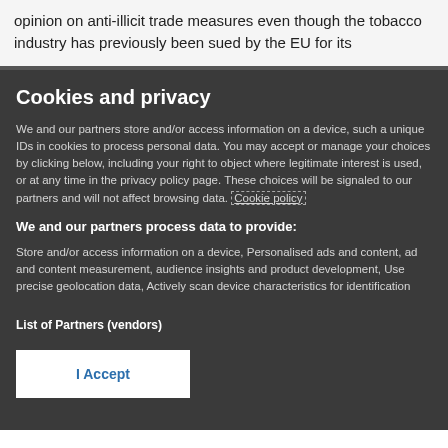opinion on anti-illicit trade measures even though the tobacco industry has previously been sued by the EU for its
Cookies and privacy
We and our partners store and/or access information on a device, such a unique IDs in cookies to process personal data. You may accept or manage your choices by clicking below, including your right to object where legitimate interest is used, or at any time in the privacy policy page. These choices will be signaled to our partners and will not affect browsing data. Cookie policy
We and our partners process data to provide:
Store and/or access information on a device, Personalised ads and content, ad and content measurement, audience insights and product development, Use precise geolocation data, Actively scan device characteristics for identification
List of Partners (vendors)